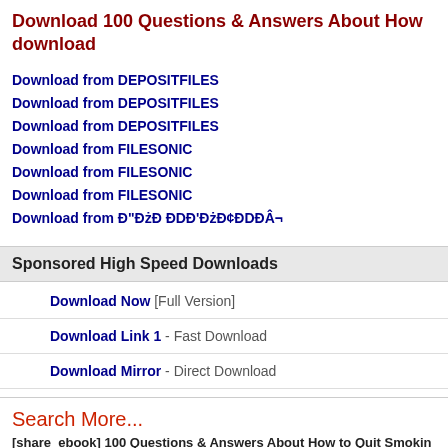Download 100 Questions & Answers About How... download
Download from DEPOSITFILES
Download from DEPOSITFILES
Download from DEPOSITFILES
Download from FILESONIC
Download from FILESONIC
Download from FILESONIC
Download from Ð"ÐżÐ ÐĐ'ÐżÐ¢ÐĐÐÂ¬
Sponsored High Speed Downloads
Download Now [Full Version]
Download Link 1 - Fast Download
Download Mirror - Direct Download
Search More...
[share_ebook] 100 Questions & Answers About How to Quit Smokin...